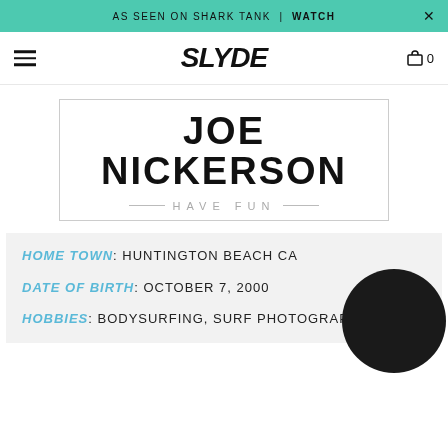AS SEEN ON SHARK TANK | WATCH
[Figure (logo): SLYDE logo in bold italic black text]
JOE NICKERSON
HAVE FUN
HOME TOWN: HUNTINGTON BEACH CA
DATE OF BIRTH: OCTOBER 7, 2000
HOBBIES: BODYSURFING, SURF PHOTOGRAPHY